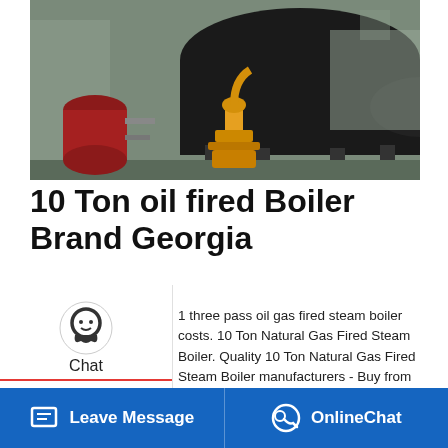[Figure (photo): Industrial oil-fired boiler in a workshop/factory setting. A large black horizontal cylindrical boiler is visible in the background. In the foreground there is a red cylindrical vessel on the left and a yellow-orange burner/nozzle assembly in the center.]
10 Ton oil fired Boiler Brand Georgia
1 three pass oil gas fired steam boiler costs. 10 Ton Natural Gas Fired Steam Boiler. Quality 10 Ton Natural Gas Fired Steam Boiler manufacturers - Buy from China Gas Fired Steam Price: 1000~5000 3. Main components such as burners pumps water level meters valves are limited to renowned . Light oREAD MORE Automatic 1- 20 Industrial Gas
[Figure (screenshot): WhatsApp sticker saver banner with pink/purple gradient background showing 'Save Stickers on WhatsApp' text with WhatsApp and emoji icons.]
Leave Message   OnlineChat